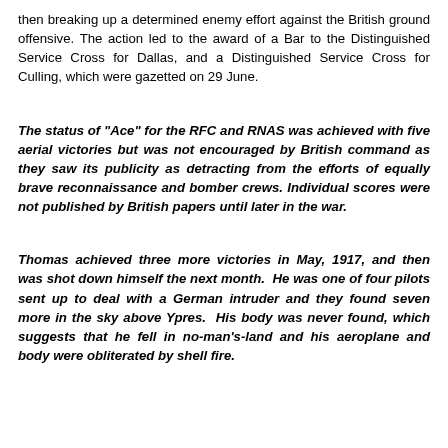then breaking up a determined enemy effort against the British ground offensive. The action led to the award of a Bar to the Distinguished Service Cross for Dallas, and a Distinguished Service Cross for Culling, which were gazetted on 29 June.
The status of "Ace" for the RFC and RNAS was achieved with five aerial victories but was not encouraged by British command as they saw its publicity as detracting from the efforts of equally brave reconnaissance and bomber crews. Individual scores were not published by British papers until later in the war.
Thomas achieved three more victories in May, 1917, and then was shot down himself the next month. He was one of four pilots sent up to deal with a German intruder and they found seven more in the sky above Ypres. His body was never found, which suggests that he fell in no-man's-land and his aeroplane and body were obliterated by shell fire.